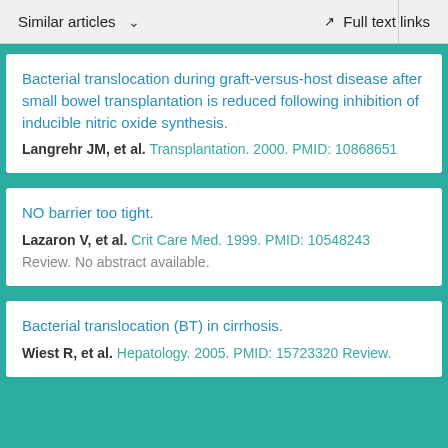Similar articles   Full text links
Bacterial translocation during graft-versus-host disease after small bowel transplantation is reduced following inhibition of inducible nitric oxide synthesis.
Langrehr JM, et al. Transplantation. 2000. PMID: 10868651
NO barrier too tight.
Lazaron V, et al. Crit Care Med. 1999. PMID: 10548243
Review. No abstract available.
Bacterial translocation (BT) in cirrhosis.
Wiest R, et al. Hepatology. 2005. PMID: 15723320 Review.